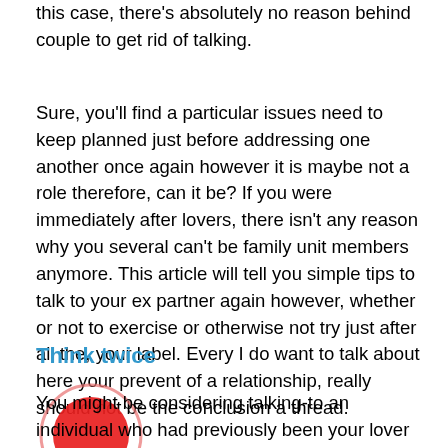this case, there's absolutely no reason behind couple to get rid of talking.
Sure, you'll find a particular issues need to keep planned just before addressing one another once again however it is maybe not a role therefore, can it be? If you were immediately after lovers, there isn't any reason why you several can't be family unit members anymore. This article will tell you simple tips to talk to your ex partner again however, whether or not to exercise or otherwise not try just after all the, your label. Every I do want to talk about here your prevent of a relationship, really should not be the conclusion a thread.
Think twice
[Figure (other): Red circle/dot with a lighter red circular border, positioned at bottom left of the page overlapping the beginning of a paragraph.]
You might be considering talking-to an individual who had previously been your lover and you can isn't really therefore today. You have to understand that everything is